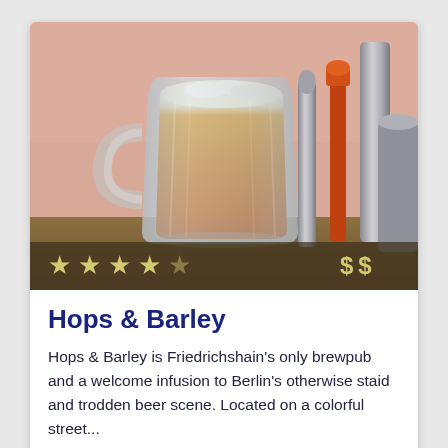[Figure (photo): A glass beer mug filled with amber/red beer with a white foam head, sitting on a bar counter. In the background are blurred beer tap handles (including an orange one) and metallic brewing equipment. Stars rating (4 out of 5) and '$ $' price indicator overlaid on a dark semi-transparent bar at the bottom of the image.]
Hops & Barley
Hops & Barley is Friedrichshain's only brewpub and a welcome infusion to Berlin's otherwise staid and trodden beer scene. Located on a colorful street...